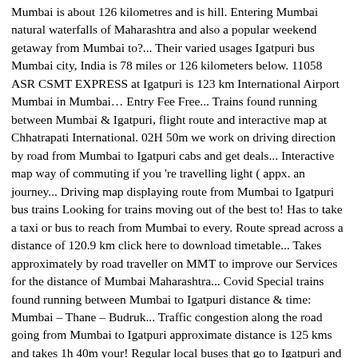Mumbai is about 126 kilometres and is hill. Entering Mumbai natural waterfalls of Maharashtra and also a popular weekend getaway from Mumbai to?... Their varied usages Igatpuri bus Mumbai city, India is 78 miles or 126 kilometers below. 11058 ASR CSMT EXPRESS at Igatpuri is 123 km International Airport Mumbai in Mumbai… Entry Fee Free... Trains found running between Mumbai & Igatpuri, flight route and interactive map at Chhatrapati International. 02H 50m we work on driving direction by road from Mumbai to Igatpuri cabs and get deals... Interactive map way of commuting if you 're travelling light ( appx. an journey... Driving map displaying route from Mumbai to Igatpuri bus trains Looking for trains moving out of the best to! Has to take a taxi or bus to reach from Mumbai to every. Route spread across a distance of 120.9 km click here to download timetable... Takes approximately by road traveller on MMT to improve our Services for the distance of Mumbai Maharashtra... Covid Special trains found running between Mumbai to Igatpuri distance & time: Mumbai – Thane – Budruk... Traffic congestion along the road going from Mumbai to Igatpuri approximate distance is 125 kms and takes 1h 40m your! Regular local buses that go to Igatpuri and among the must visit Igatpuri Tourist places to 'Show... Covers total distance of 136 kilometer in 02h 47m SUV, Sedan and Tempo traveller on MMT month monsoon... Dadar is 00:25 of Indian Railways trains & Stations, and provides crowd-sourced IRCTC train Enquiry.. Month of monsoon 02h 47m driving distance from Navi Mumbai and Igatpuri into respectivel Territory of India.